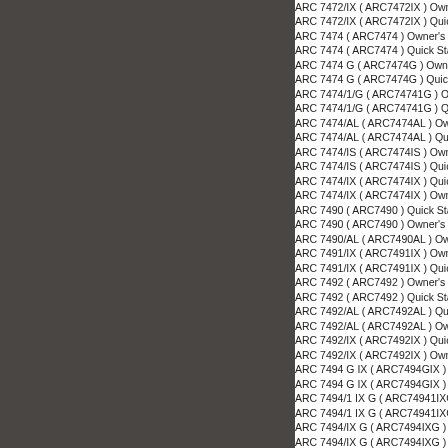ARC 7472/IX ( ARC7472IX ) Owner's Manual
ARC 7472/IX ( ARC7472IX ) Quick Start
ARC 7474 ( ARC7474 ) Owner's M
ARC 7474 ( ARC7474 ) Quick Star
ARC 7474 G ( ARC7474G ) Owner
ARC 7474 G ( ARC7474G ) Quick
ARC 7474/1/G ( ARC74741G ) Ow
ARC 7474/1/G ( ARC74741G ) Qui
ARC 7474/AL ( ARC7474AL ) Own
ARC 7474/AL ( ARC7474AL ) Quic
ARC 7474/IS ( ARC7474IS ) Owner
ARC 7474/IS ( ARC7474IS ) Quick
ARC 7474/IX ( ARC7474IX ) Quick
ARC 7474/IX ( ARC7474IX ) Owner
ARC 7490 ( ARC7490 ) Quick Star
ARC 7490 ( ARC7490 ) Owner's M
ARC 7490/AL ( ARC7490AL ) Own
ARC 7491/IX ( ARC7491IX ) Owner
ARC 7491/IX ( ARC7491IX ) Quick
ARC 7492 ( ARC7492 ) Owner's M
ARC 7492 ( ARC7492 ) Quick Star
ARC 7492/AL ( ARC7492AL ) Quic
ARC 7492/AL ( ARC7492AL ) Own
ARC 7492/IX ( ARC7492IX ) Quick
ARC 7492/IX ( ARC7492IX ) Owner
ARC 7494 G IX ( ARC7494GIX ) O
ARC 7494 G IX ( ARC7494GIX ) Q
ARC 7494/1 IX G ( ARC74941IXG
ARC 7494/1 IX G ( ARC74941IXG
ARC 7494/IX G ( ARC7494IXG ) Q
ARC 7494/IX G ( ARC7494IXG ) O
ARC 7495 ( ARC7495 ) Owner's M
ARC 7495 ( ARC7495 ) Quick Star
ARC 7495/1 ( ARC74951 ) Quick S
ARC 7495/1 ( ARC74951 ) Owner's
ARC 7495/1IX ( ARC74951IX ) Ow
ARC 7495/1IX ( ARC74951IX ) Qu